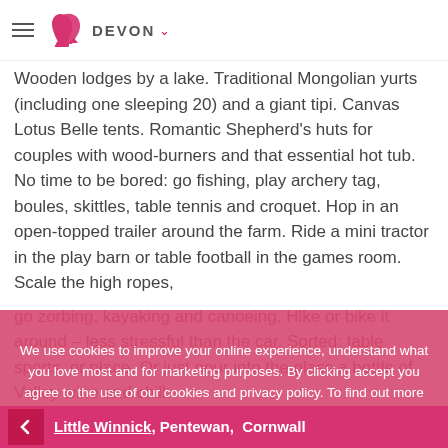≡ [heel logo] DEVON ▾
Wooden lodges by a lake. Traditional Mongolian yurts (including one sleeping 20) and a giant tipi. Canvas Lotus Belle tents. Romantic Shepherd's huts for couples with wood-burners and that essential hot tub. No time to be bored: go fishing, play archery tag, boules, skittles, table tennis and croquet. Hop in an open-topped trailer around the farm. Ride a mini tractor in the play barn or table football in the games room. Scale the high ropes, go zorbing, kayaking and canoeing. Hike or bike it around – less stressful than the car. Sorted: table sports, or place. Or just pour into the glass a bottle of Valley wine and chill.
We use cookies to improve your online experience, understand what you love most and for marketing purposes. By clicking accept you agree to the use of our cookies and privacy policy. To find out more information and manage your cookies visit our policy page.
I accept!
Little Winnick, Pentewan, Cornwall